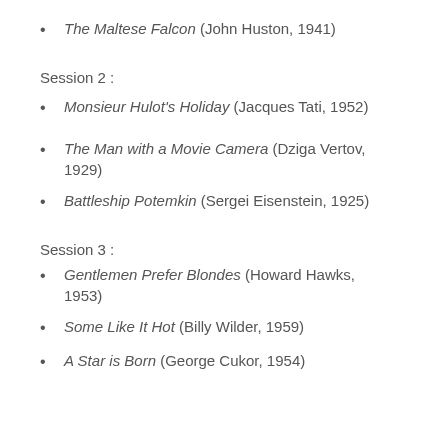The Maltese Falcon (John Huston, 1941)
Session 2 :
Monsieur Hulot's Holiday (Jacques Tati, 1952)
The Man with a Movie Camera (Dziga Vertov, 1929)
Battleship Potemkin (Sergei Eisenstein, 1925)
Session 3 :
Gentlemen Prefer Blondes (Howard Hawks, 1953)
Some Like It Hot (Billy Wilder, 1959)
A Star is Born (George Cukor, 1954)